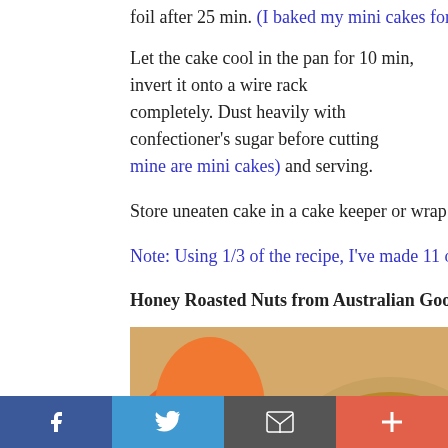foil after 25 min. (I baked my mini cakes for 13-15 min and didn't
Let the cake cool in the pan for 10 min, invert it onto a wire rack completely. Dust heavily with confectioner's sugar before cutting mine are mini cakes) and serving.
Store uneaten cake in a cake keeper or wrap in plastic and store
Note: Using 1/3 of the recipe, I've made 11 of these bite-sized c
Honey Roasted Nuts from Australian GoodFood magazine,
[Figure (photo): Photo of honey roasted nuts - macadamia nuts glazed with honey in a bowl, with orange segments visible on the left side.]
Combine 2 tbsp honey (+ 2 tbsp raw sugar), 2 tbsp olive oil and